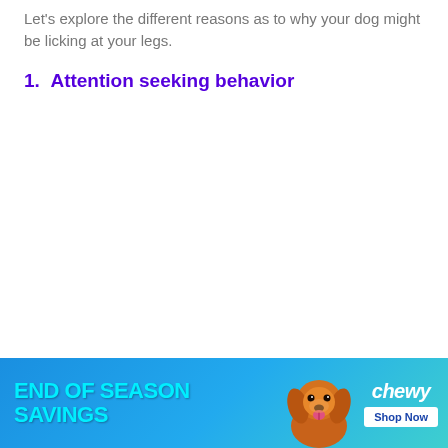Let's explore the different reasons as to why your dog might be licking at your legs.
1.  Attention seeking behavior
[Figure (infographic): Chewy advertisement banner with blue/teal gradient background. Text reads 'END OF SEASON SAVINGS' in large cyan letters on the left. A golden/red fluffy dog (cocker spaniel type) in the center-right. Chewy logo in white italic text top right, with 'Shop Now' white button below.]